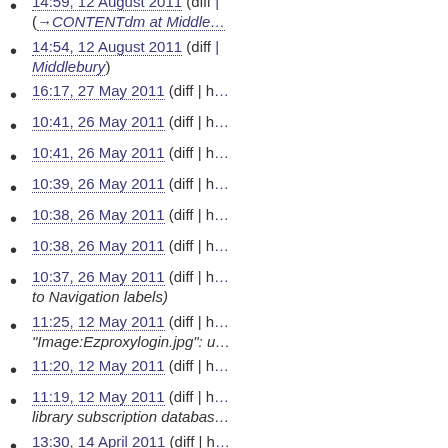14:59, 12 August 2011 (diff | (→CONTENTdm at Middle…
14:54, 12 August 2011 (diff | …Middlebury)
16:17, 27 May 2011 (diff | h…
10:41, 26 May 2011 (diff | h…
10:41, 26 May 2011 (diff | h…
10:39, 26 May 2011 (diff | h…
10:38, 26 May 2011 (diff | h…
10:38, 26 May 2011 (diff | h…
10:37, 26 May 2011 (diff | h… to Navigation labels)
11:25, 12 May 2011 (diff | h… "Image:Ezproxylogin.jpg": u…
11:20, 12 May 2011 (diff | h…
11:19, 12 May 2011 (diff | h… library subscription databas…
13:30, 14 April 2011 (diff | h…
18:04, 16 March 2011 (diff…